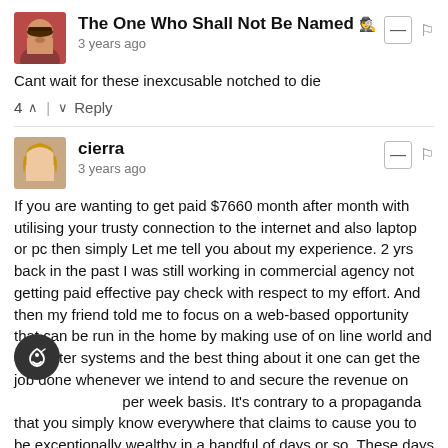[Figure (photo): Avatar of user 'The One Who Shall Not Be Named' - bearded man photo]
The One Who Shall Not Be Named 🕵 3 years ago
Cant wait for these inexcusable notched to die
4 ↑ | ↓ Reply
[Figure (photo): Avatar of user 'cierra' - woman with blonde hair]
cierra
3 years ago
If you are wanting to get paid $7660 month after month with utilising your trusty connection to the internet and also laptop or pc then simply Let me tell you about my experience. 2 yrs back in the past I was still working in commercial agency not getting paid effective pay check with respect to my effort. And then my friend told me to focus on a web-based opportunity that can be run in the home by making use of on line world and computer systems and the best thing about it one can get the job done whenever we intend to and secure the revenue on per week basis. It's contrary to a propaganda that you simply know everywhere that claims to cause you to be exceptionally wealthy in a handful of days or so. These days after working on this life changing opportunity for 24 months I will declare that this is exactly the most desirable on line